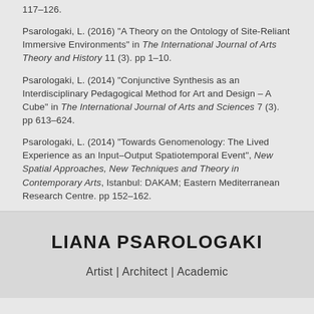117–126.
Psarologaki, L. (2016) "A Theory on the Ontology of Site-Reliant Immersive Environments" in The International Journal of Arts Theory and History 11 (3). pp 1–10.
Psarologaki, L. (2014) "Conjunctive Synthesis as an Interdisciplinary Pedagogical Method for Art and Design – A Cube" in The International Journal of Arts and Sciences 7 (3). pp 613–624.
Psarologaki, L. (2014) "Towards Genomenology: The Lived Experience as an Input–Output Spatiotemporal Event", New Spatial Approaches, New Techniques and Theory in Contemporary Arts, Istanbul: DAKAM; Eastern Mediterranean Research Centre. pp 152–162.
LIANA PSAROLOGAKI
Artist | Architect | Academic